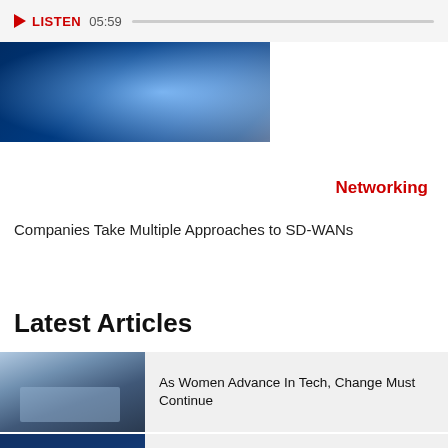[Figure (other): Audio player bar with play button, LISTEN label, timestamp 05:59, and progress bar track]
[Figure (photo): Hero image with blue glowing technology hand/network graphic against dark blue background]
Networking
Companies Take Multiple Approaches to SD-WANs
Latest Articles
[Figure (photo): Thumbnail of people meeting around a conference table in a modern office]
As Women Advance In Tech, Change Must Continue
[Figure (photo): Thumbnail of a presenter on stage at a technology summit with digital displays]
CDW Executive SummIT: Optimizing The Hybrid Experience For Employees